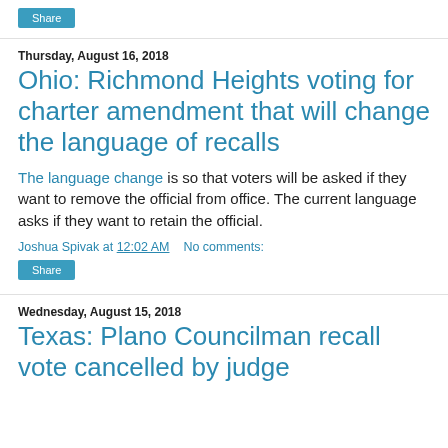Share
Thursday, August 16, 2018
Ohio: Richmond Heights voting for charter amendment that will change the language of recalls
The language change is so that voters will be asked if they want to remove the official from office. The current language asks if they want to retain the official.
Joshua Spivak at 12:02 AM   No comments:
Share
Wednesday, August 15, 2018
Texas: Plano Councilman recall vote cancelled by judge